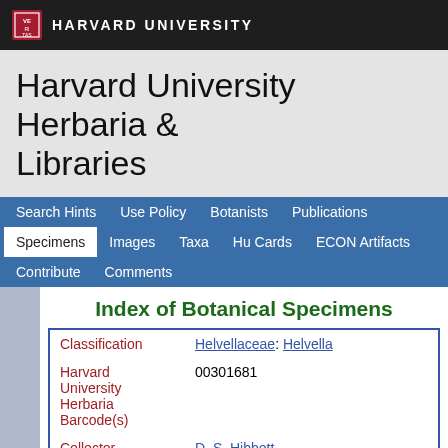HARVARD UNIVERSITY
Harvard University Herbaria & Libraries
Search Hints  Use Policy  Botanists  Publications  Specimens  Images  Taxa  Hu Cards  ECON Artifacts  Contribute  Comments
Index of Botanical Specimens
| Field | Value |
| --- | --- |
| Classification | Helvellaceae: Helvella |
| Harvard University Herbaria Barcode(s) | 00301681 |
| Collector | D. S. Hibbett |
| Collector number | DSH97-275 |
| Country | China |
| State | Sichuan |